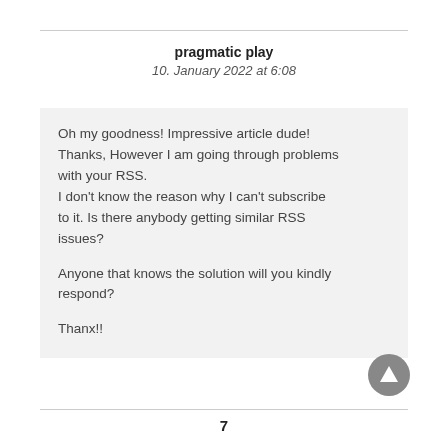pragmatic play
10. January 2022 at 6:08
Oh my goodness! Impressive article dude! Thanks, However I am going through problems with your RSS.
I don't know the reason why I can't subscribe to it. Is there anybody getting similar RSS issues?

Anyone that knows the solution will you kindly respond?

Thanx!!
7